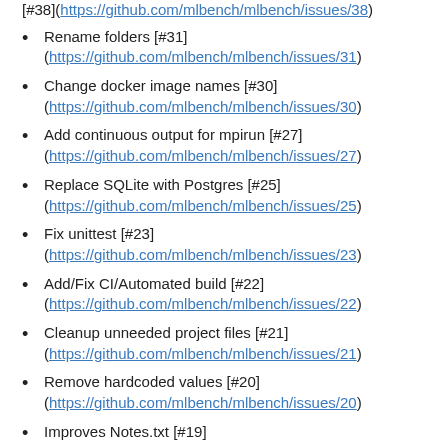[#38](https://github.com/mlbench/mlbench/issues/38)
Rename folders [#31] (https://github.com/mlbench/mlbench/issues/31)
Change docker image names [#30] (https://github.com/mlbench/mlbench/issues/30)
Add continuous output for mpirun [#27] (https://github.com/mlbench/mlbench/issues/27)
Replace SQLite with Postgres [#25] (https://github.com/mlbench/mlbench/issues/25)
Fix unittest [#23] (https://github.com/mlbench/mlbench/issues/23)
Add/Fix CI/Automated build [#22] (https://github.com/mlbench/mlbench/issues/22)
Cleanup unneeded project files [#21] (https://github.com/mlbench/mlbench/issues/21)
Remove hardcoded values [#20] (https://github.com/mlbench/mlbench/issues/20)
Improves Notes.txt [#19]